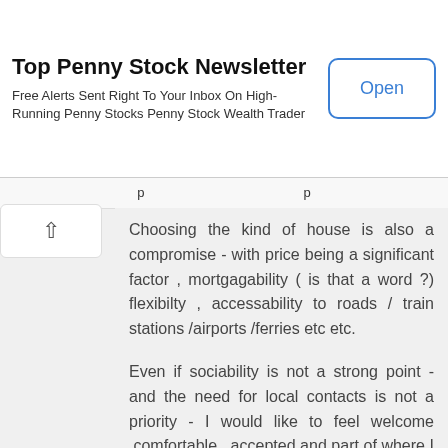[Figure (screenshot): Advertisement banner for Top Penny Stock Newsletter app with Open button]
Choosing the kind of house is also a compromise - with price being a significant factor , mortgagability ( is that a word ?) flexibilty , accessability to roads / train stations /airports /ferries etc etc.
Even if sociability is not a strong point - and the need for local contacts is not a priority - I would like to feel welcome ,comfortable , accepted and part of where I choose to live .Think about all the services that we all need to make life easier: doctor/dentist/locally provided Council type services/schooling /other education/plumbers, builders ,roofers,electricians , garages for repairs and servicing,window cleaners,cleaners,gardeners (if your house and lifestyle requires any of the last 3) etc. Most of